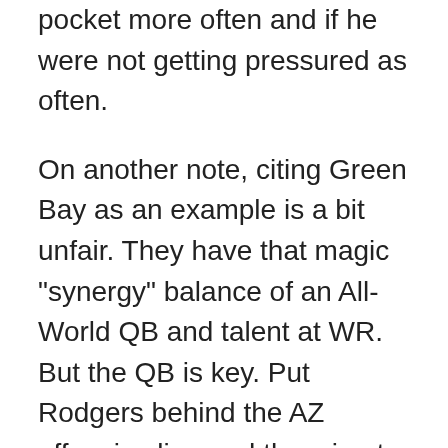pocket more often and if he were not getting pressured as often.
On another note, citing Green Bay as an example is a bit unfair. They have that magic "synergy" balance of an All-World QB and talent at WR. But the QB is key. Put Rodgers behind the AZ offensive line and throwing to the same guys Kolb has and I bet there are less problems. But then again, you can argue that Rodgers could be the best QB on the planet. Put Alex Smith in Green Bay and that receiving corp will not look near so talented. How does the Indianapolis group of WRs look this year with Curtis Painter throwing the ball instead of Peyton Manning?
With Kolb and the current receiving group, time will tell. We hear that a lot, but it is true. Now, do we start to see Kolb and Fitz, Kolb and Roberts, Kolb and Doucet